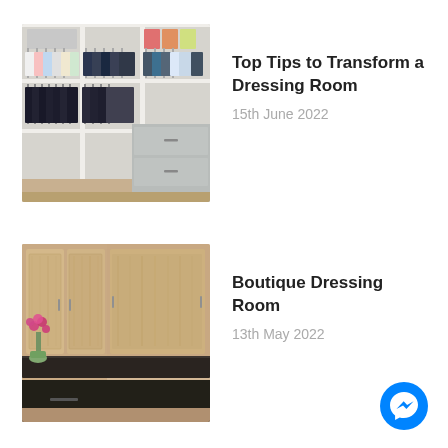[Figure (photo): Walk-in closet with organized white shelving, hanging clothes in a row including shirts and dark trousers, and a grey drawer unit]
Top Tips to Transform a Dressing Room
15th June 2022
[Figure (photo): Boutique dressing room showing light wood grain cabinet doors with metal handles and a dark countertop with pink flowers]
Boutique Dressing Room
13th May 2022